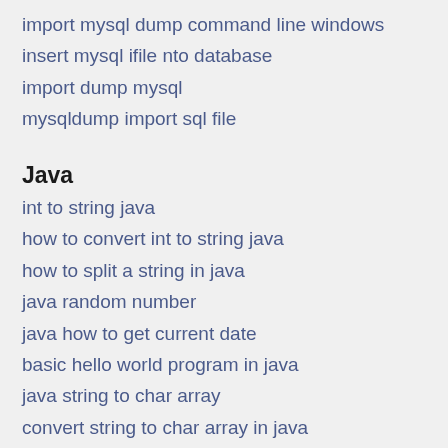import mysql dump command line windows
insert mysql ifile nto database
import dump mysql
mysqldump import sql file
Java
int to string java
how to convert int to string java
how to split a string in java
java random number
java how to get current date
basic hello world program in java
java string to char array
convert string to char array in java
java how to print an array